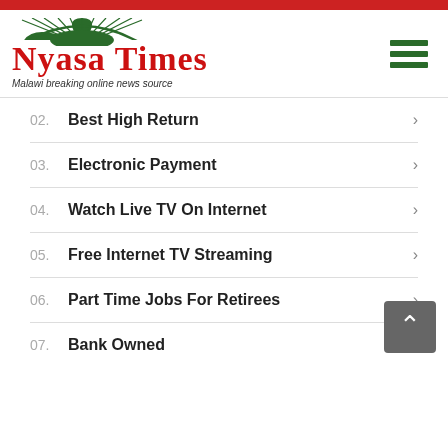[Figure (logo): Nyasa Times logo with red arc/dome graphic above text and tagline 'Malawi breaking online news source']
02. Best High Return
03. Electronic Payment
04. Watch Live TV On Internet
05. Free Internet TV Streaming
06. Part Time Jobs For Retirees
07. Bank Owned